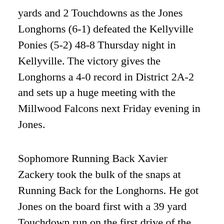yards and 2 Touchdowns as the Jones Longhorns (6-1) defeated the Kellyville Ponies (5-2) 48-8 Thursday night in Kellyville. The victory gives the Longhorns a 4-0 record in District 2A-2 and sets up a huge meeting with the Millwood Falcons next Friday evening in Jones.
Sophomore Running Back Xavier Zackery took the bulk of the snaps at Running Back for the Longhorns. He got Jones on the board first with a 39 yard Touchdown run on the first drive of the game. Zackery would finish the game with 107 yards on 15 carries. After a defensive stop Longhorns would score again in the opening Quarter when Junior Quarterback Carson May had a 16 yard rushing Touchdown putting the Horns up 16-0.